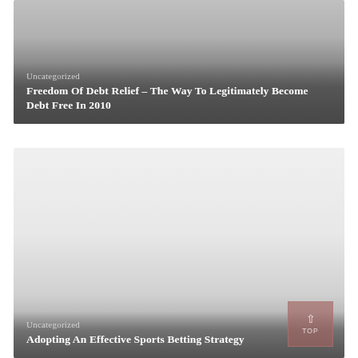[Figure (other): Blog post card with dark gradient background showing category label and article title: Freedom Of Debt Relief – The Way To Legitimately Become Debt Free In 2010]
Uncategorized
Freedom Of Debt Relief – The Way To Legitimately Become Debt Free In 2010
[Figure (other): Blog post card with light-to-dark gradient background showing category label and article title: Adopting An Effective Sports Betting Strategy, with a TOP navigation button in the bottom right]
Uncategorized
Adopting An Effective Sports Betting Strategy